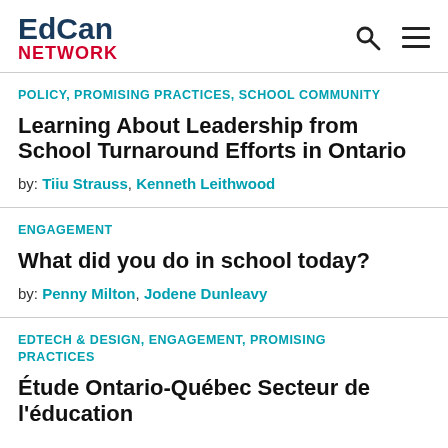EdCan NETWORK
POLICY, PROMISING PRACTICES, SCHOOL COMMUNITY
Learning About Leadership from School Turnaround Efforts in Ontario
by: Tiiu Strauss, Kenneth Leithwood
ENGAGEMENT
What did you do in school today?
by: Penny Milton, Jodene Dunleavy
EDTECH & DESIGN, ENGAGEMENT, PROMISING PRACTICES
Étude Ontario-Québec Secteur de l'éducation